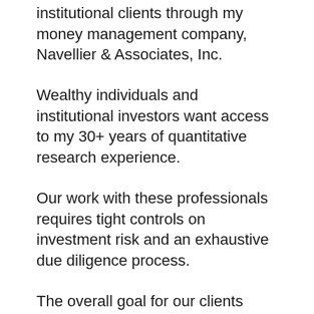institutional clients through my money management company, Navellier & Associates, Inc.
Wealthy individuals and institutional investors want access to my 30+ years of quantitative research experience.
Our work with these professionals requires tight controls on investment risk and an exhaustive due diligence process.
The overall goal for our clients focuses on how to achieve steady, long-term returns in up and down markets.
At Navellier & Associates, our proprietary quantitative models are designed to balance